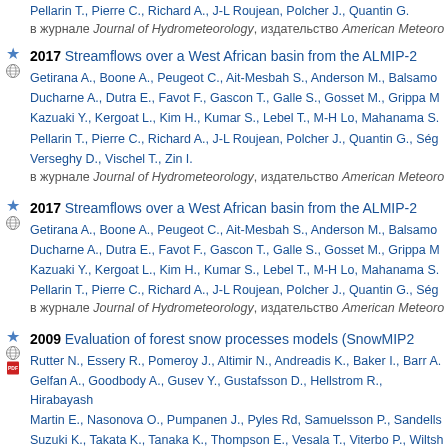Pellarin T., Pierre C., Richard A., J-L Roujean, Polcher J., Quantin G.
в журнале Journal of Hydrometeorology, издательство American Meteor...
2017 Streamflows over a West African basin from the ALMIP-2... Getirana A., Boone A., Peugeot C., Ait-Mesbah S., Anderson M., Balsamo... Ducharne A., Dutra E., Favot F., Gascon T., Galle S., Gosset M., Grippa M... Kazuaki Y., Kergoat L., Kim H., Kumar S., Lebel T., M-H Lo, Mahanama S.... Pellarin T., Pierre C., Richard A., J-L Roujean, Polcher J., Quantin G., Seg... Verseghy D., Vischel T., Zin I. в журнале Journal of Hydrometeorology, издательство American Meteor...
2017 Streamflows over a West African basin from the ALMIP-2... Getirana A., Boone A., Peugeot C., Ait-Mesbah S., Anderson M., Balsamo... Ducharne A., Dutra E., Favot F., Gascon T., Galle S., Gosset M., Grippa M... Kazuaki Y., Kergoat L., Kim H., Kumar S., Lebel T., M-H Lo, Mahanama S.... Pellarin T., Pierre C., Richard A., J-L Roujean, Polcher J., Quantin G., Seg... в журнале Journal of Hydrometeorology, издательство American Meteor...
2009 Evaluation of forest snow processes models (SnowMIP2... Rutter N., Essery R., Pomeroy J., Altimir N., Andreadis K., Baker I., Barr A.... Gelfan A., Goodbody A., Gusev Y., Gustafsson D., Hellstrom R., Hirabayashi... Martin E., Nasonova O., Pumpanen J., Pyles Rd, Samuelsson P., Sandells... Suzuki K., Takata K., Tanaka K., Thompson E., Vesala T., Viterbo P., Wiltsh... в журнале Journal of Geophysical Research, издательство William Byrd P...